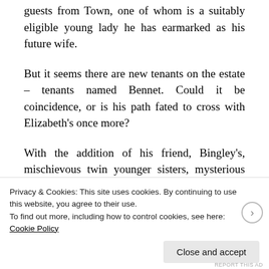guests from Town, one of whom is a suitably eligible young lady he has earmarked as his future wife.
But it seems there are new tenants on the estate – tenants named Bennet. Could it be coincidence, or is his path fated to cross with Elizabeth's once more?
With the addition of his friend, Bingley's, mischievous twin younger sisters, mysterious letters from a stranger and a shadowy figure lurking in the grounds of Pemberley, Darcy's carefully laid plans are soon in tatters as the
Privacy & Cookies: This site uses cookies. By continuing to use this website, you agree to their use.
To find out more, including how to control cookies, see here: Cookie Policy
Close and accept